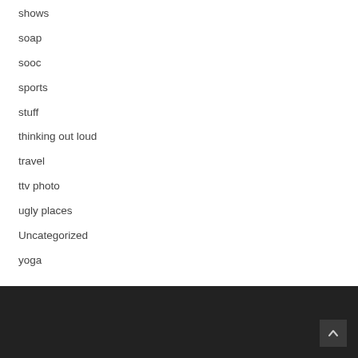shows
soap
sooc
sports
stuff
thinking out loud
travel
ttv photo
ugly places
Uncategorized
yoga